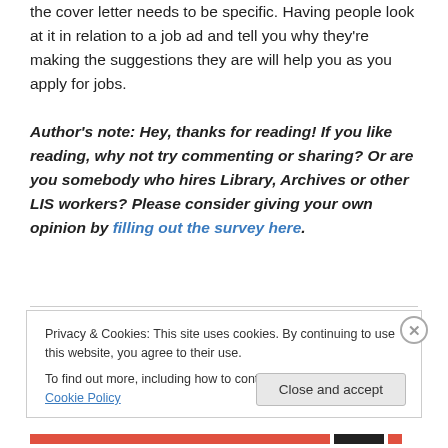the cover letter needs to be specific. Having people look at it in relation to a job ad and tell you why they're making the suggestions they are will help you as you apply for jobs.
Author's note: Hey, thanks for reading! If you like reading, why not try commenting or sharing? Or are you somebody who hires Library, Archives or other LIS workers? Please consider giving your own opinion by filling out the survey here.
Privacy & Cookies: This site uses cookies. By continuing to use this website, you agree to their use.
To find out more, including how to control cookies, see here: Cookie Policy